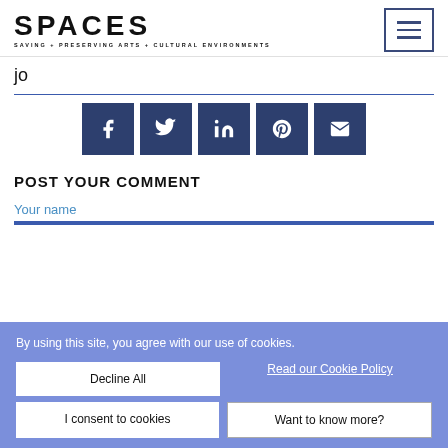[Figure (logo): SPACES logo with text 'SAVING + PRESERVING ARTS + CULTURAL ENVIRONMENTS' below]
jo
[Figure (infographic): Social share buttons: Facebook, Twitter, LinkedIn, Pinterest, Email]
POST YOUR COMMENT
Your name
By using this site, you agree with our use of cookies.
Decline All
Read our Cookie Policy
I consent to cookies
Want to know more?